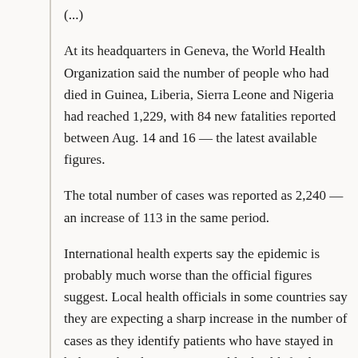(...)
At its headquarters in Geneva, the World Health Organization said the number of people who had died in Guinea, Liberia, Sierra Leone and Nigeria had reached 1,229, with 84 new fatalities reported between Aug. 14 and 16 — the latest available figures.
The total number of cases was reported as 2,240 — an increase of 113 in the same period.
International health experts say the epidemic is probably much worse than the official figures suggest. Local health officials in some countries say they are expecting a sharp increase in the number of cases as they identify patients who have stayed in hiding rather than report to public health facilities.
The W.H.O. also said it was working with the United